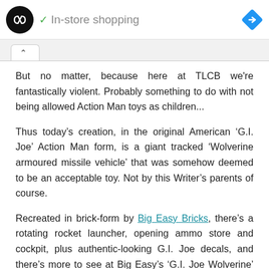[Figure (screenshot): Advertisement bar showing a circular logo with double arrow symbol, a green checkmark followed by 'In-store shopping' text in grey, and a blue diamond navigation icon on the right. Below are small play and close controls on the left.]
But no matter, because here at TLCB we're fantastically violent. Probably something to do with not being allowed Action Man toys as children...
Thus today's creation, in the original American ‘G.I. Joe’ Action Man form, is a giant tracked ‘Wolverine armoured missile vehicle’ that was somehow deemed to be an acceptable toy. Not by this Writer’s parents of course.
Recreated in brick-form by Big Easy Bricks, there’s a rotating rocket launcher, opening ammo store and cockpit, plus authentic-looking G.I. Joe decals, and there’s more to see at Big Easy’s ‘G.I. Joe Wolverine’ album on Flickr.